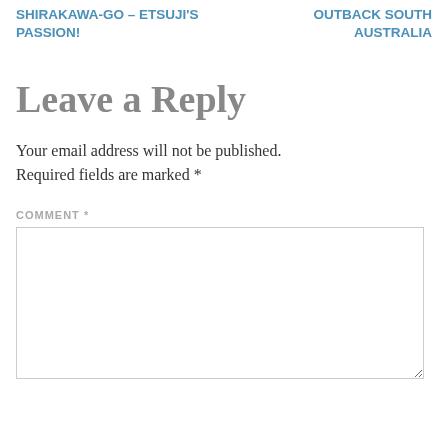SHIRAKAWA-GO – Etsuji's passion!
OUTBACK SOUTH AUSTRALIA
Leave a Reply
Your email address will not be published. Required fields are marked *
COMMENT *